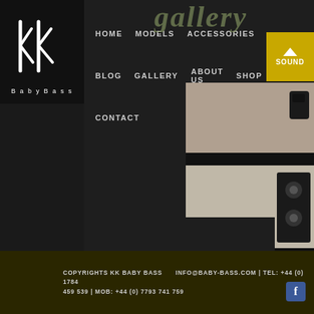[Figure (logo): KK BabyBass logo — white stylized kk letters on black background with 'BabyBass' text below]
HOME  MODELS  ACCESSORIES  SOUND  BLOG  GALLERY  ABOUT US  SHOP  CONTACT
[Figure (photo): Gallery background text reading 'gallery' in olive/tan italic font at top right]
[Figure (photo): Photo of bass guitar accessory detail — light beige background with dark element, top right]
[Figure (photo): Photo of bass guitar detail — light background with dark hardware/tuning peg, lower right]
COPYRIGHTS KK BABY BASS  INFO@BABY-BASS.COM | TEL: +44 (0) 1784 459 539 | MOB: +44 (0) 7793 741 759